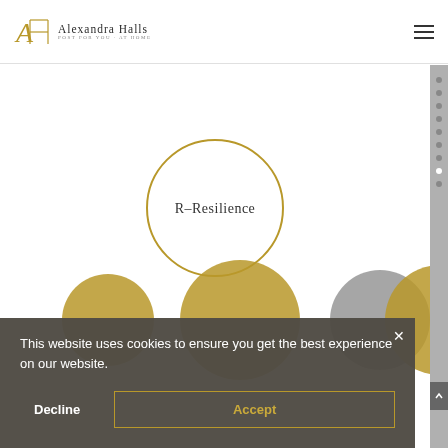[Figure (logo): Alexandra Halls logo with stylized AH initials in gold/dark and text 'Alexandra Halls' with tagline below]
[Figure (infographic): Circular diagram with gold circle labeled 'R–Resilience' in center-top area, and partial gold circles visible below representing other nodes in a network/framework diagram]
This website uses cookies to ensure you get the best experience on our website.
Decline
Accept